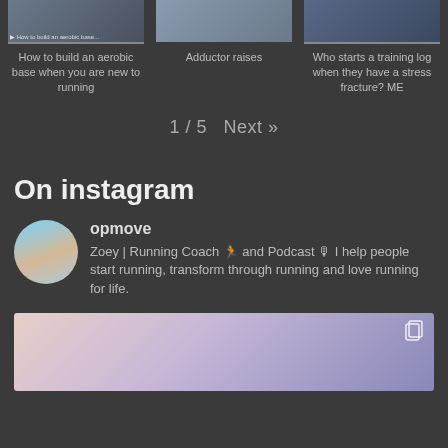[Figure (photo): Three video thumbnails in a row: person in video call, person at desk, person waving]
How to build an aerobic base when you are new to running
Adductor raises
Who starts a training log when they have a stress fracture? ME
1 / 5  Next »
On instagram
opmove
Zoey | Running Coach 🏃 and Podcast 🎙 I help people start running, transform through running and love running for life.
[Figure (photo): Instagram post preview with gradient background (pink to purple/blue) and copy icon in top right]